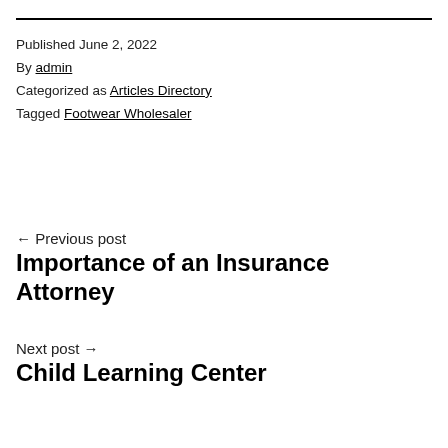Published June 2, 2022
By admin
Categorized as Articles Directory
Tagged Footwear Wholesaler
← Previous post
Importance of an Insurance Attorney
Next post →
Child Learning Center